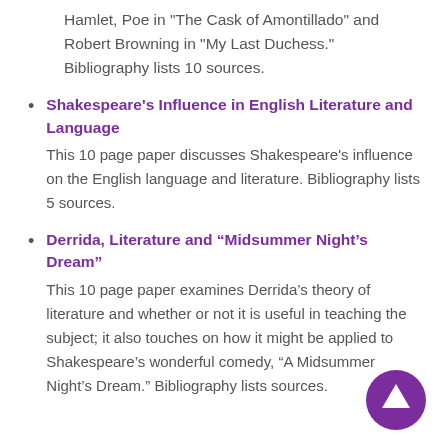Hamlet, Poe in "The Cask of Amontillado" and Robert Browning in "My Last Duchess." Bibliography lists 10 sources.
Shakespeare's Influence in English Literature and Language
This 10 page paper discusses Shakespeare's influence on the English language and literature. Bibliography lists 5 sources.
Derrida, Literature and “Midsummer Night’s Dream”
This 10 page paper examines Derrida’s theory of literature and whether or not it is useful in teaching the subject; it also touches on how it might be applied to Shakespeare’s wonderful comedy, “A Midsummer Night’s Dream.” Bibliography lists sources.